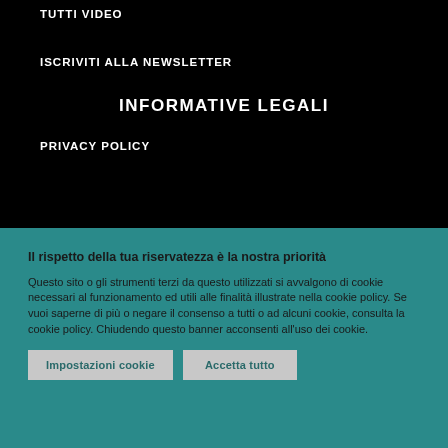TUTTI VIDEO
ISCRIVITI ALLA NEWSLETTER
INFORMATIVE LEGALI
PRIVACY POLICY
Il rispetto della tua riservatezza è la nostra priorità
Questo sito o gli strumenti terzi da questo utilizzati si avvalgono di cookie necessari al funzionamento ed utili alle finalità illustrate nella cookie policy. Se vuoi saperne di più o negare il consenso a tutti o ad alcuni cookie, consulta la cookie policy. Chiudendo questo banner acconsenti all'uso dei cookie.
Impostazioni cookie
Accetta tutto